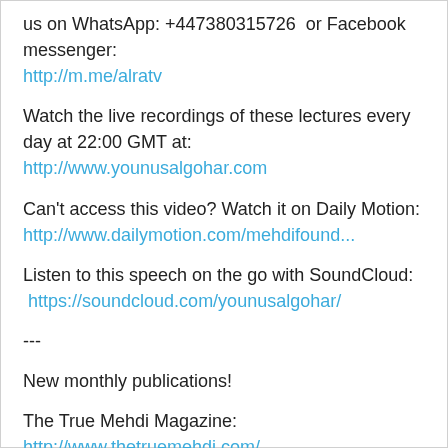us on WhatsApp: +447380315726  or Facebook messenger: http://m.me/alratv
Watch the live recordings of these lectures every day at 22:00 GMT at: http://www.younusalgohar.com
Can't access this video? Watch it on Daily Motion: http://www.dailymotion.com/mehdifound...
Listen to this speech on the go with SoundCloud: https://soundcloud.com/younusalgohar/
---
New monthly publications!
The True Mehdi Magazine: http://www.thetruemehdi.com/
Messiah Herald Magazine: http://messiahherald.com/